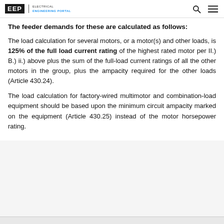EEP | ELECTRICAL ENGINEERING PORTAL
The feeder demands for these are calculated as follows:
The load calculation for several motors, or a motor(s) and other loads, is 125% of the full load current rating of the highest rated motor per II.) B.) ii.) above plus the sum of the full-load current ratings of all the other motors in the group, plus the ampacity required for the other loads (Article 430.24).
The load calculation for factory-wired multimotor and combination-load equipment should be based upon the minimum circuit ampacity marked on the equipment (Article 430.25) instead of the motor horsepower rating.